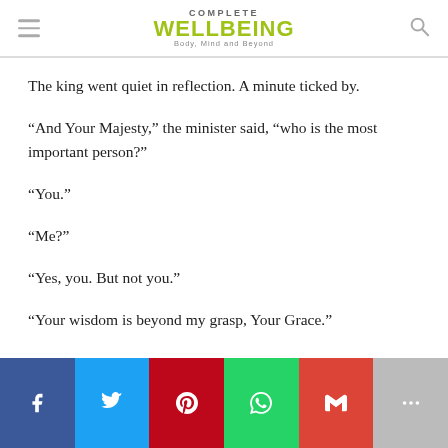COMPLETE WELLBEING — Body, Mind and Beyond
The king went quiet in reflection. A minute ticked by.
“And Your Majesty,” the minister said, “who is the most important person?”
“You.”
“Me?”
“Yes, you. But not you.”
“Your wisdom is beyond my grasp, Your Grace.”